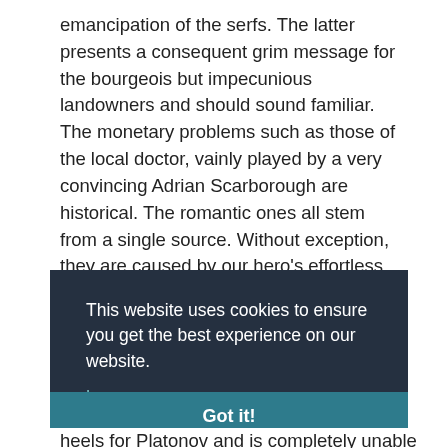emancipation of the serfs. The latter presents a consequent grim message for the bourgeois but impecunious landowners and should sound familiar. The monetary problems such as those of the local doctor, vainly played by a very convincing Adrian Scarborough are historical. The romantic ones all stem from a single source. Without exception, they are caused by our hero's effortless charm and his dissolution.
This website uses cookies to ensure you get the best experience on our website.
Learn more
Got it!
heels for Platonov and is completely unable